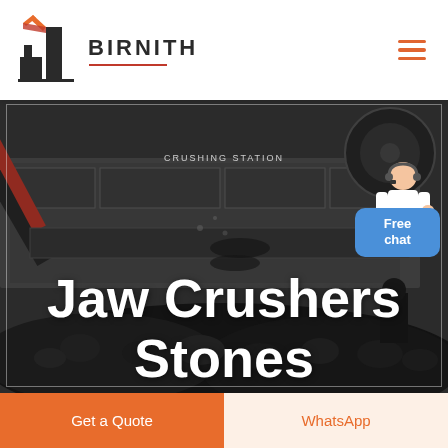BIRNITH
[Figure (photo): Industrial jaw crusher machine at a crushing station with large pile of crushed stones/coal in the foreground, dark industrial setting]
Jaw Crushers Stones
Free chat
Get a Quote
WhatsApp